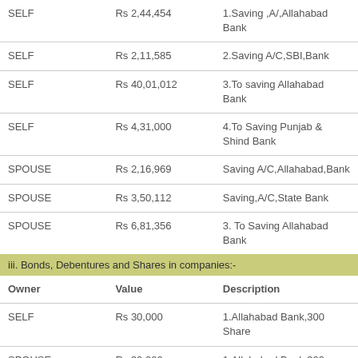| Owner | Value | Description |
| --- | --- | --- |
| SELF | Rs 2,44,454 | 1.Saving ,A/, Allahabad Bank |
| SELF | Rs 2,11,585 | 2.Saving A/C,SBI,Bank |
| SELF | Rs 40,01,012 | 3.To saving Allahabad Bank |
| SELF | Rs 4,31,000 | 4.To Saving Punjab & Shind Bank |
| SPOUSE | Rs 2,16,969 | Saving A/C,Allahabad,Bank |
| SPOUSE | Rs 3,50,112 | Saving,A/C,State Bank |
| SPOUSE | Rs 6,81,356 | 3. To Saving Allahabad Bank |
iii. Bonds, Debentures and Shares in companies:-
| Owner | Value | Description |
| --- | --- | --- |
| SELF | Rs 30,000 | 1.Allahabad Bank,300 Share |
| SPOUSE | Rs 30,000 | 1.Allahabad Bank 300 Share |